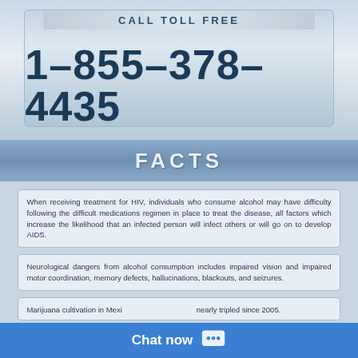[Figure (infographic): Call toll free phone number 1-855-378-4435 displayed in large bold text on a silver/blue gradient panel]
FACTS
When receiving treatment for HIV, individuals who consume alcohol may have difficulty following the difficult medications regimen in place to treat the disease, all factors which increase the likelihood that an infected person will infect others or will go on to develop AIDS.
Neurological dangers from alcohol consumption includes impaired vision and impaired motor coordination, memory defects, hallucinations, blackouts, and seizures.
Marijuana cultivation in Mexico has increased nearly tripled since 2005.